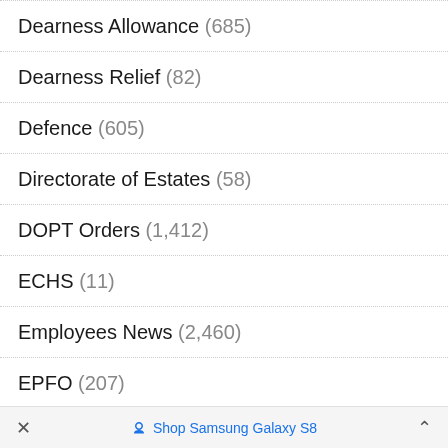Dearness Allowance (685)
Dearness Relief (82)
Defence (605)
Directorate of Estates (58)
DOPT Orders (1,412)
ECHS (11)
Employees News (2,460)
EPFO (207)
ESIC (28)
Expected DA (417)
× Shop Samsung Galaxy S8 ^